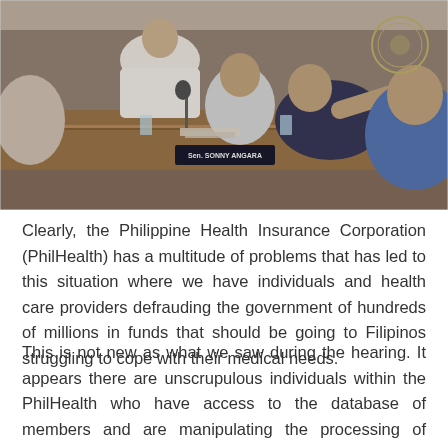[Figure (photo): Photo of a Philippine Senate hearing room with officials seated at a long wooden table. A nameplate reading 'Sen. SONNY ANGARA' is visible. Officials appear to be in discussion, with one person pointing.]
Clearly, the Philippine Health Insurance Corporation (PhilHealth) has a multitude of problems that has led to this situation where we have individuals and health care providers defrauding the government of hundreds of millions in funds that should be going to Filipinos struggling to cope with their medical needs.
This is not new as what we saw during the hearing. It appears there are unscrupulous individuals within the PhilHealth who have access to the database of members and are manipulating the processing of claims for their own benefit.